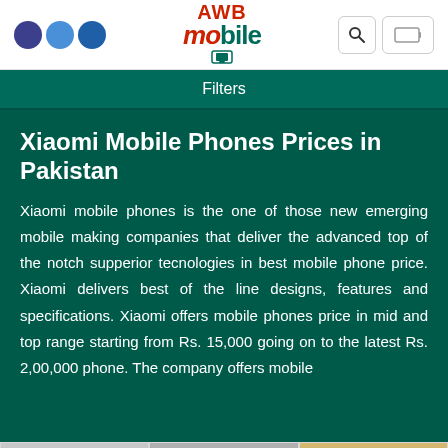[Figure (logo): AWB Mobile website header with three colored circles logo on left, AWB Mobile brand logo in center, search and menu icons on right]
Filters
Xiaomi Mobile Phones Prices in Pakistan
Xiaomi mobile phones is the one of those new emerging mobile making companies that deliver the advanced top of the notch supperior tecnologies in best mobile phone price. Xiaomi delivers best of the line designs, features and specifications. Xiaomi offers mobile phones price in mid and top range starting from Rs. 15,000 going on to the latest Rs. 2,00,000 phone. The company offers mobile
[Figure (photo): Three product thumbnail images at the bottom of the page (gray, gray, gold/yellow)]